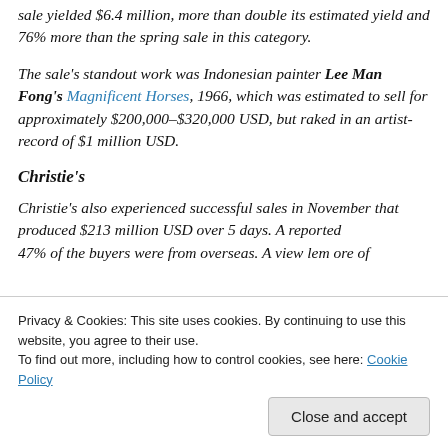sale yielded $6.4 million, more than double its estimated yield and 76% more than the spring sale in this category.
The sale's standout work was Indonesian painter Lee Man Fong's Magnificent Horses, 1966, which was estimated to sell for approximately $200,000–$320,000 USD, but raked in an artist-record of $1 million USD.
Christie's
Christie's also experienced successful sales in November that produced $213 million USD over 5 days. A reported 47% of the buyers were from overseas. A view lem ore of
Chinese 20th Century Art, Zeng Fanzhi's Untitled
Privacy & Cookies: This site uses cookies. By continuing to use this website, you agree to their use.
To find out more, including how to control cookies, see here: Cookie Policy